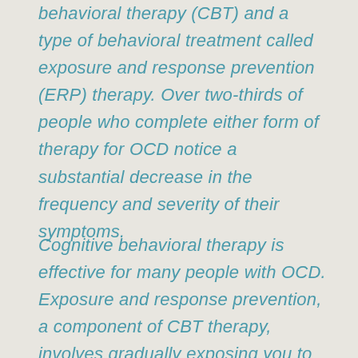behavioral therapy (CBT) and a type of behavioral treatment called exposure and response prevention (ERP) therapy. Over two-thirds of people who complete either form of therapy for OCD notice a substantial decrease in the frequency and severity of their symptoms.
Cognitive behavioral therapy is effective for many people with OCD. Exposure and response prevention, a component of CBT therapy, involves gradually exposing you to